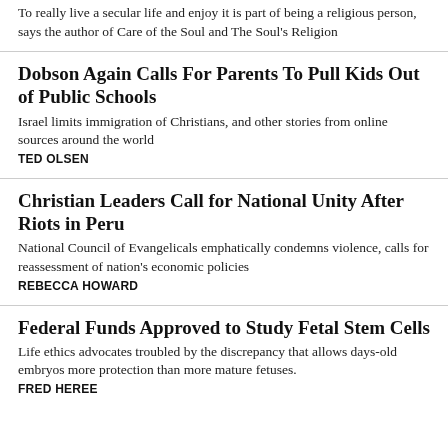To really live a secular life and enjoy it is part of being a religious person, says the author of Care of the Soul and The Soul's Religion
Dobson Again Calls For Parents To Pull Kids Out of Public Schools
Israel limits immigration of Christians, and other stories from online sources around the world
TED OLSEN
Christian Leaders Call for National Unity After Riots in Peru
National Council of Evangelicals emphatically condemns violence, calls for reassessment of nation's economic policies
REBECCA HOWARD
Federal Funds Approved to Study Fetal Stem Cells
Life ethics advocates troubled by the discrepancy that allows days-old embryos more protection than more mature fetuses.
FRED HEREE